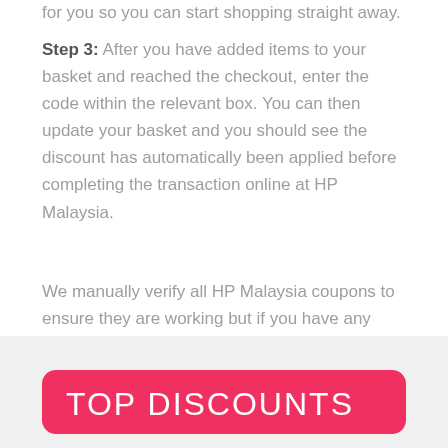for you so you can start shopping straight away.
Step 3: After you have added items to your basket and reached the checkout, enter the code within the relevant box. You can then update your basket and you should see the discount has automatically been applied before completing the transaction online at HP Malaysia.
We manually verify all HP Malaysia coupons to ensure they are working but if you have any difficulties please get in contact with a member of our support team via our Contact Page.
TOP DISCOUNTS